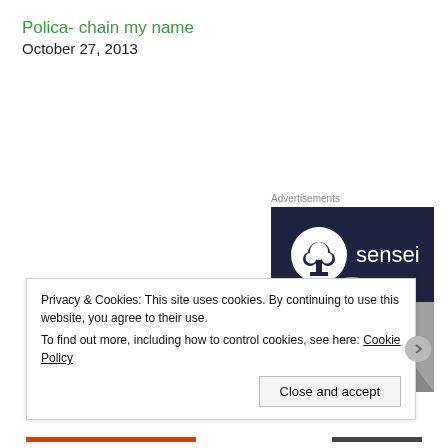Polica- chain my name
October 27, 2013
Advertisements
[Figure (logo): Sensei advertisement with dark navy background showing a bonsai tree icon in a white circle and the word 'sensei' in white text, below which is a grayscale photo of a person's neck/chin wearing a thin chain necklace]
Privacy & Cookies: This site uses cookies. By continuing to use this website, you agree to their use.
To find out more, including how to control cookies, see here: Cookie Policy
Close and accept